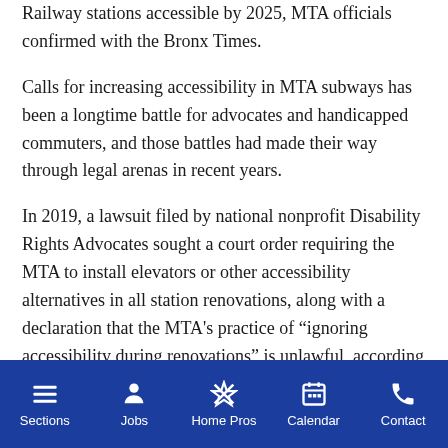Railway stations accessible by 2025, MTA officials confirmed with the Bronx Times.
Calls for increasing accessibility in MTA subways has been a longtime battle for advocates and handicapped commuters, and those battles had made their way through legal arenas in recent years.
In 2019, a lawsuit filed by national nonprofit Disability Rights Advocates sought a court order requiring the MTA to install elevators or other accessibility alternatives in all station renovations, along with a declaration that the MTA’s practice of “ignoring accessibility during renovations” is unlawful, according to the suit.
Sections  Jobs  Home Pros  Calendar  Contact